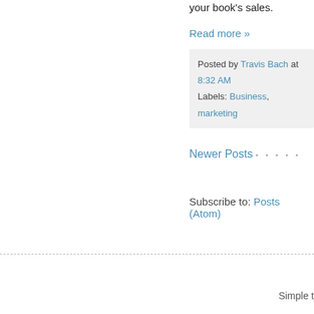your book's sales.
Read more »
Posted by Travis Bach at 8:32 AM
Labels: Business, marketing
Newer Posts
Subscribe to: Posts (Atom)
Simple t